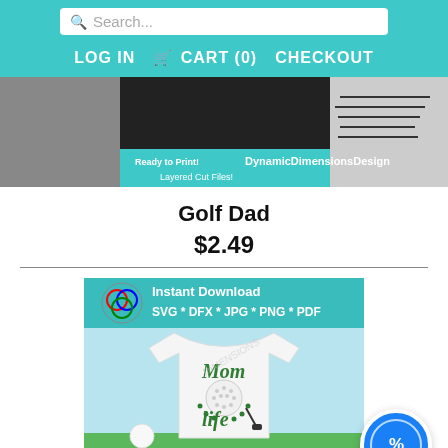Search... | LOG IN  CART (0)  CHECKOUT
[Figure (photo): Banner image showing DynamicDimensionsDesign with shoes, text: Ready to Print! DynamicDimensionsDesign Layered Cut Files!]
Golf Dad
$2.49
[Figure (photo): Product image showing a white t-shirt with 'Mom Life' golf design, golf ball and club graphic, on green grass background. Header: Instant Download SVG * DFX * JPG * PNG * PDF. Logo: DD (Dynamic Dimensions Design). Watermark: DIMENSIONS. Footer: DynamicDimensionsDesign]